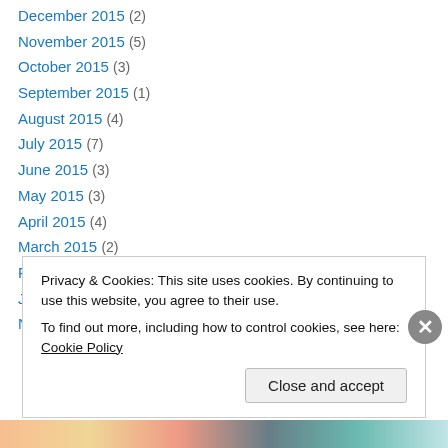December 2015 (2)
November 2015 (5)
October 2015 (3)
September 2015 (1)
August 2015 (4)
July 2015 (7)
June 2015 (3)
May 2015 (3)
April 2015 (4)
March 2015 (2)
February 2015 (3)
January 2015 (4)
November 2014 (4)
Privacy & Cookies: This site uses cookies. By continuing to use this website, you agree to their use. To find out more, including how to control cookies, see here: Cookie Policy